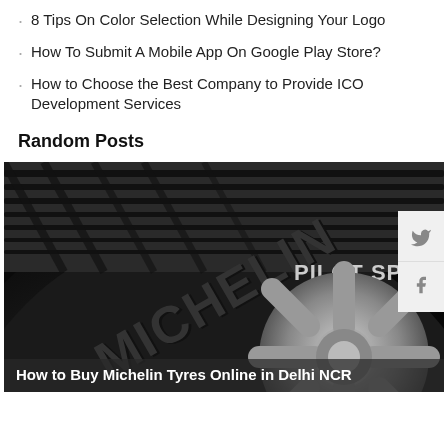8 Tips On Color Selection While Designing Your Logo
How To Submit A Mobile App On Google Play Store?
How to Choose the Best Company to Provide ICO Development Services
Random Posts
[Figure (photo): Close-up black and white photo of a Michelin Pilot Sport tyre showing the tread and sidewall branding]
How to Buy Michelin Tyres Online in Delhi NCR
Discover how to make spectacular business card boxes.